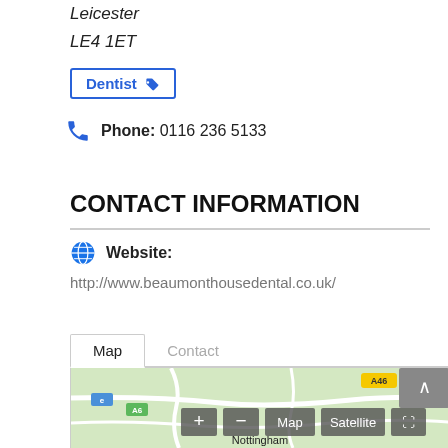Leicester
LE4 1ET
Dentist
Phone: 0116 236 5133
CONTACT INFORMATION
Website: http://www.beaumonthousedental.co.uk/
[Figure (screenshot): Map tab interface with Map and Contact tabs, and a partial map showing roads near Nottingham with map controls (zoom in, zoom out, Map, Satellite, fullscreen buttons)]